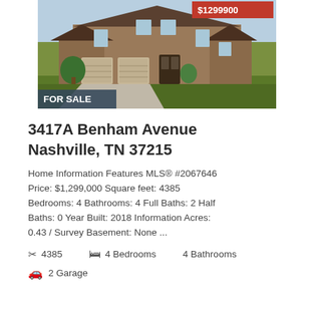[Figure (photo): Exterior photo of a large brick home for sale in Nashville, TN, with two-car garage and manicured lawn. Price badge '$1299900' in red top right. 'FOR SALE' badge in dark blue bottom left.]
3417A Benham Avenue Nashville, TN 37215
Home Information Features MLS® #2067646 Price: $1,299,000 Square feet: 4385 Bedrooms: 4 Bathrooms: 4 Full Baths: 2 Half Baths: 0 Year Built: 2018 Information Acres: 0.43 / Survey Basement: None ...
✂ 4385   🛏 4 Bedrooms   4 Bathrooms
🚗 2 Garage